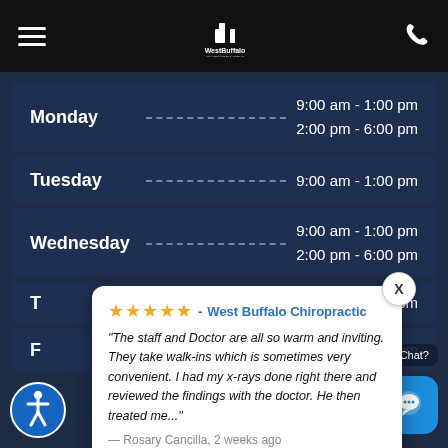WestBuffalo Chiropractic
| Day | Hours |
| --- | --- |
| Monday | 9:00 am - 1:00 pm
2:00 pm - 6:00 pm |
| Tuesday | 9:00 am - 1:00 pm |
| Wednesday | 9:00 am - 1:00 pm
2:00 pm - 6:00 pm |
| T[hursday] | [..]:00 pm |
| F[riday] | [...]:00 pm |
[Figure (screenshot): Review popup from West Buffalo Chiropractic with 5 stars, review text by Rosary Cancilla, 2 weeks ago, powered by Review Wave]